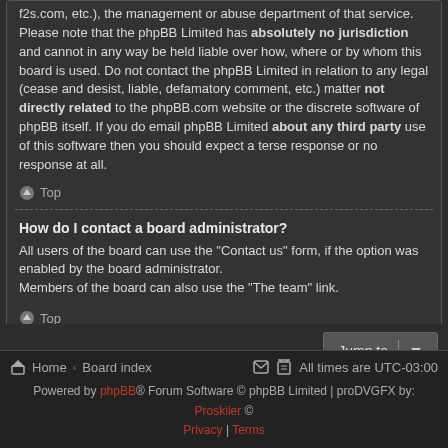f2s.com, etc.), the management or abuse department of that service. Please note that the phpBB Limited has absolutely no jurisdiction and cannot in any way be held liable over how, where or by whom this board is used. Do not contact the phpBB Limited in relation to any legal (cease and desist, liable, defamatory comment, etc.) matter not directly related to the phpBB.com website or the discrete software of phpBB itself. If you do email phpBB Limited about any third party use of this software then you should expect a terse response or no response at all.
Top
How do I contact a board administrator?
All users of the board can use the "Contact us" form, if the option was enabled by the board administrator.
Members of the board can also use the "The team" link.
Top
Jump to
Home · Board index    All times are UTC-03:00
Powered by phpBB® Forum Software © phpBB Limited | proDVGFX by: Proskiler ©
Privacy | Terms